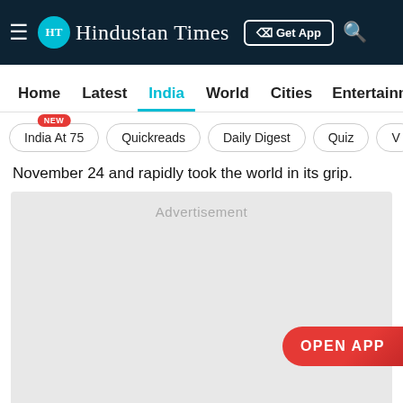HT Hindustan Times — Get App
Home  Latest  India  World  Cities  Entertainment
India At 75 (NEW)  Quickreads  Daily Digest  Quiz  V
November 24 and rapidly took the world in its grip.
[Figure (other): Advertisement placeholder block with 'OPEN APP' button overlay]